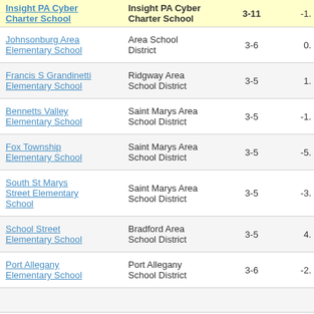| School | District | Grades | Score |
| --- | --- | --- | --- |
| Insight PA Cyber Charter School | Insight PA Cyber Charter School | 3-11 | -1. |
| Johnsonburg Area Elementary School | Area School District | 3-6 | 0. |
| Francis S Grandinetti Elementary School | Ridgway Area School District | 3-5 | 1. |
| Bennetts Valley Elementary School | Saint Marys Area School District | 3-5 | -1. |
| Fox Township Elementary School | Saint Marys Area School District | 3-5 | -5. |
| South St Marys Street Elementary School | Saint Marys Area School District | 3-5 | -3. |
| School Street Elementary School | Bradford Area School District | 3-5 | 4. |
| Port Allegany Elementary School | Port Allegany School District | 3-6 | -2. |